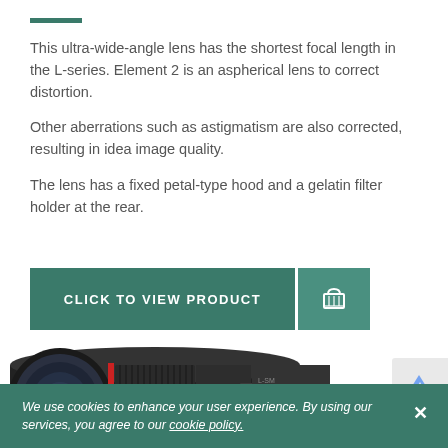This ultra-wide-angle lens has the shortest focal length in the L-series. Element 2 is an aspherical lens to correct distortion.
Other aberrations such as astigmatism are also corrected, resulting in idea image quality.
The lens has a fixed petal-type hood and a gelatin filter holder at the rear.
[Figure (other): Green call-to-action button reading CLICK TO VIEW PRODUCT with a shopping cart icon button to the right]
[Figure (photo): Close-up photo of a Canon L-series camera lens with red ring, showing focus and aperture rings]
We use cookies to enhance your user experience. By using our services, you agree to our cookie policy.